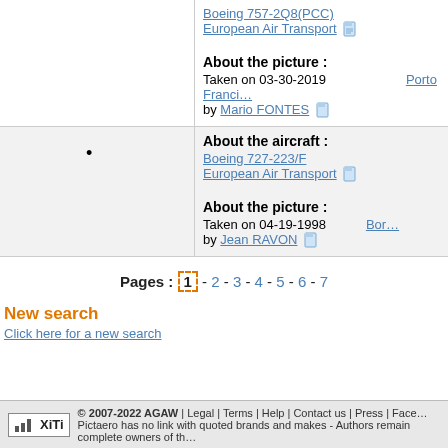Boeing 757-2Q8(PCC) European Air Transport — About the picture : Taken on 03-30-2019 by Mario FONTES — Porto Franci…
About the aircraft : Boeing 727-223/F European Air Transport — About the picture : Taken on 04-19-1998 by Jean RAVON — Bor…
Pages : 1 - 2 - 3 - 4 - 5 - 6 - 7
New search
Click here for a new search
© 2007-2022 AGAW | Legal | Terms | Help | Contact us | Press | Face… Pictaero has no link with quoted brands and makes - Authors remain complete owners of th…